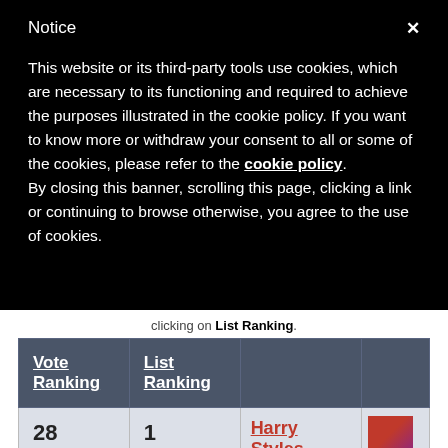Notice
This website or its third-party tools use cookies, which are necessary to its functioning and required to achieve the purposes illustrated in the cookie policy. If you want to know more or withdraw your consent to all or some of the cookies, please refer to the cookie policy.
By closing this banner, scrolling this page, clicking a link or continuing to browse otherwise, you agree to the use of cookies.
clicking on List Ranking.
| Vote Ranking | List Ranking |  |  |
| --- | --- | --- | --- |
| 28 | 1 | Harry Styles
Vocalist
55.88% (233 of 417 votes) | [image] |